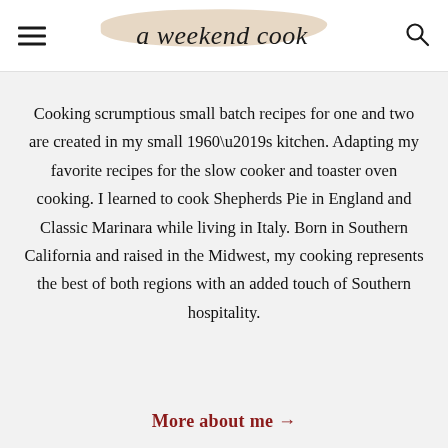a weekend cook
Cooking scrumptious small batch recipes for one and two are created in my small 1960’s kitchen. Adapting my favorite recipes for the slow cooker and toaster oven cooking. I learned to cook Shepherds Pie in England and Classic Marinara while living in Italy. Born in Southern California and raised in the Midwest, my cooking represents the best of both regions with an added touch of Southern hospitality.
More about me →